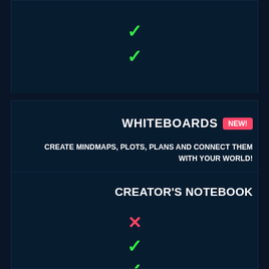[Figure (infographic): Top section with two green checkmarks on dark background]
WHITEBOARDS NEW!
CREATE MINDMAPS, PLOTS, PLANS AND CONNECT THEM WITH YOUR WORLD!
[Figure (infographic): Whiteboards section with one red X and three green checkmarks]
CREATOR'S NOTEBOOK
[Figure (infographic): Creator's Notebook section with one red X and two green checkmarks visible]